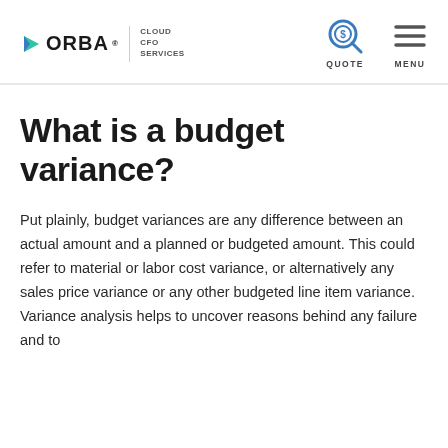ORBA CLOUD CFO SERVICES | QUOTE | MENU
What is a budget variance?
Put plainly, budget variances are any difference between an actual amount and a planned or budgeted amount. This could refer to material or labor cost variance, or alternatively any sales price variance or any other budgeted line item variance. Variance analysis helps to uncover reasons behind any failure and to identify areas for...